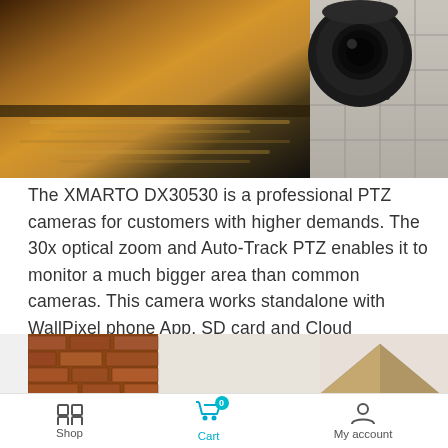[Figure (photo): PTZ security camera mounted on tiled wall, with pool/water reflection in background]
The XMARTO DX30530 is a professional PTZ cameras for customers with higher demands. The 30x optical zoom and Auto-Track PTZ enables it to monitor a much bigger area than common cameras. This camera works standalone with WallPixel phone App, SD card and Cloud recording; it also performs an add-on camera to existed XMARTO NVRs/ NVR systems.
[Figure (photo): Partial view of brick wall and pyramid structure, product context images]
Shop   Cart 0   My account